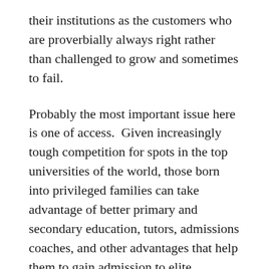their institutions as the customers who are proverbially always right rather than challenged to grow and sometimes to fail.
Probably the most important issue here is one of access.  Given increasingly tough competition for spots in the top universities of the world, those born into privileged families can take advantage of better primary and secondary education, tutors, admissions coaches, and other advantages that help them to gain admission to elite institutions.  These institutions have recognized the problem and devoted considerable resources to seeking out students from poor backgrounds or from under-represented minorities, but it is still